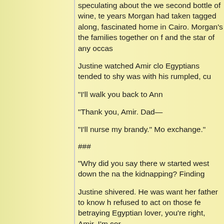speculating about the we second bottle of wine, te years Morgan had taken tagged along, fascinated home in Cairo. Morgan's the families together on f and the star of any occas
Justine watched Amir clo Egyptians tended to shy was with his rumpled, cu
“I’ll walk you back to Ann
“Thank you, Amir. Dad—
“I’ll nurse my brandy.” Mo exchange.”
###
“Why did you say there w started west down the na the kidnapping? Finding
Justine shivered. He was want her father to know h refused to act on those fe betraying Egyptian lover, you’re right, Amir. I’m cor